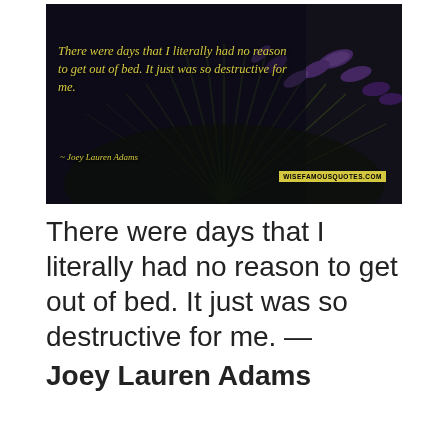[Figure (photo): A dark, moody photograph of lavender flowers with a yellow-text quote overlay. Quote text reads: 'There were days that I literally had no reason to get out of bed. It just was so destructive for me.' Attribution: '~ Joey Lauren Adams'. Watermark: 'WISEFAMOUSQUOTES.COM' in yellow box at bottom right.]
There were days that I literally had no reason to get out of bed. It just was so destructive for me. — Joey Lauren Adams